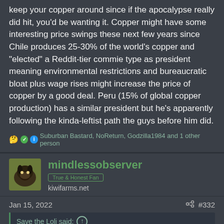keep your copper around since if the apocalypse really did hit, you'd be wanting it. Copper might have some interesting price swings these next few years since Chile produces 25-30% of the world's copper and "elected" a Reddit-tier commie type as president meaning environmental restrictions and bureaucratic bloat plus wage rises might increase the price of copper by a good deal. Peru (15% of global copper production) has a similar president but he's apparently following the kinda-leftist path the guys before him did.
Suburban Bastard, NoReturn, Godzilla1984 and 1 other person
mindlessobserver
kiwifarms.net
Jan 15, 2022
#332
Save the Loli said: